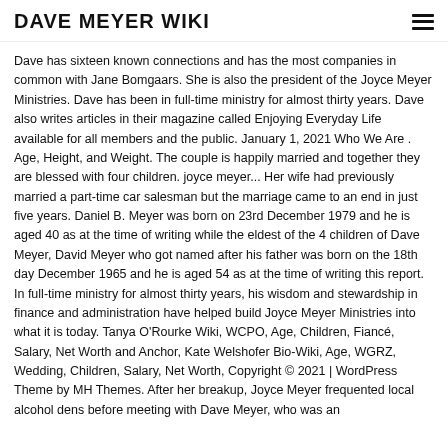DAVE MEYER WIKI
Dave has sixteen known connections and has the most companies in common with Jane Bomgaars. She is also the president of the Joyce Meyer Ministries. Dave has been in full-time ministry for almost thirty years. Dave also writes articles in their magazine called Enjoying Everyday Life available for all members and the public. January 1, 2021 Who We Are . Age, Height, and Weight. The couple is happily married and together they are blessed with four children. joyce meyer... Her wife had previously married a part-time car salesman but the marriage came to an end in just five years. Daniel B. Meyer was born on 23rd December 1979 and he is aged 40 as at the time of writing while the eldest of the 4 children of Dave Meyer, David Meyer who got named after his father was born on the 18th day December 1965 and he is aged 54 as at the time of writing this report. In full-time ministry for almost thirty years, his wisdom and stewardship in finance and administration have helped build Joyce Meyer Ministries into what it is today. Tanya O'Rourke Wiki, WCPO, Age, Children, Fiancé, Salary, Net Worth and Anchor, Kate Welshofer Bio-Wiki, Age, WGRZ, Wedding, Children, Salary, Net Worth, Copyright © 2021 | WordPress Theme by MH Themes. After her breakup, Joyce Meyer frequented local alcohol dens before meeting with Dave Meyer, who was an